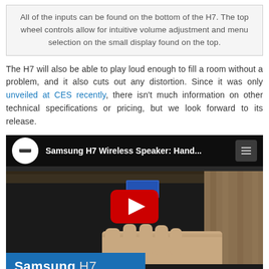All of the inputs can be found on the bottom of the H7. The top wheel controls allow for intuitive volume adjustment and menu selection on the small display found on the top.
The H7 will also be able to play loud enough to fill a room without a problem, and it also cuts out any distortion. Since it was only unveiled at CES recently, there isn't much information on other technical specifications or pricing, but we look forward to its release.
[Figure (screenshot): YouTube video thumbnail showing Samsung H7 Wireless Speaker hands-on video with Engadget logo, play button, and Samsung H7 branding bar at bottom]